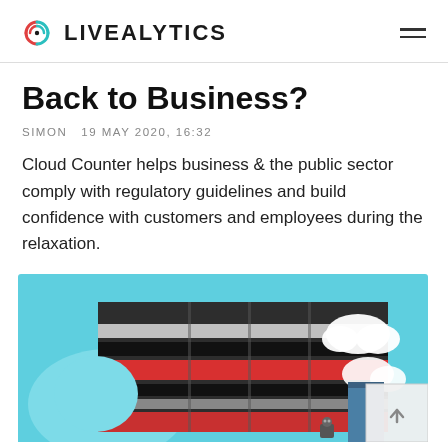LIVEALYTICS
Back to Business?
SIMON  19 MAY 2020, 16:32
Cloud Counter helps business & the public sector comply with regulatory guidelines and build confidence with customers and employees during the relaxation.
[Figure (illustration): Illustration of a modern commercial building with dark and red striped facade, set against a light blue sky background with clouds. A small cartoon character is visible at the bottom right.]